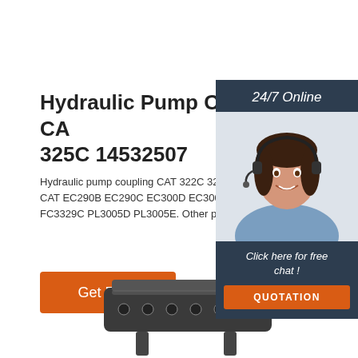Hydraulic Pump Coupling CAT 322C 325C 14532507
Hydraulic pump coupling CAT 322C 325C 145... CAT EC290B EC290C EC300D EC300E ECR... FC3329C PL3005D PL3005E. Other part num...
Get Price
[Figure (photo): Customer service representative wearing headset, smiling. Sidebar panel with '24/7 Online' header and 'Click here for free chat!' and 'QUOTATION' button.]
[Figure (photo): Hydraulic pump coupling product photo showing a metal plate component at bottom of page.]